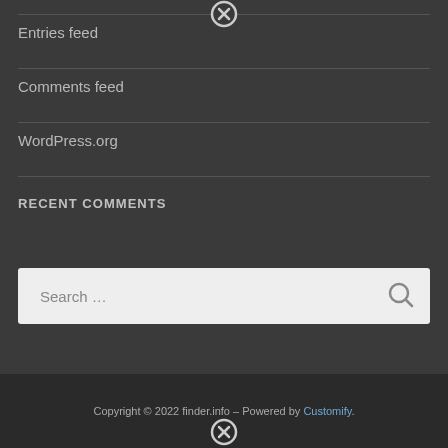[Figure (other): Close/cancel icon (circle with X) at top center]
Entries feed
Comments feed
WordPress.org
RECENT COMMENTS
[Figure (other): Search input box with placeholder text 'Search ...' and a search icon on the right]
Copyright © 2022 finder.info – Powered by Customify.
[Figure (other): Close/cancel icon (circle with X) at bottom center]